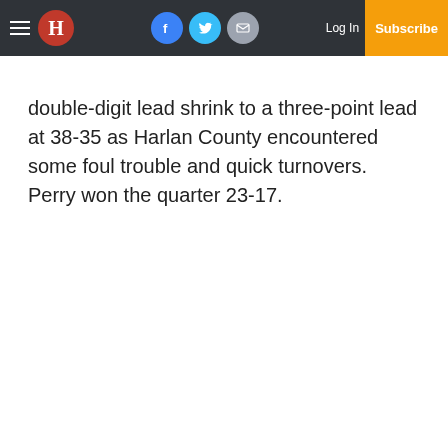Harlan Daily Enterprise newspaper navigation bar with logo, social icons, Log In, and Subscribe
double-digit lead shrink to a three-point lead at 38-35 as Harlan County encountered some foul trouble and quick turnovers. Perry won the quarter 23-17.